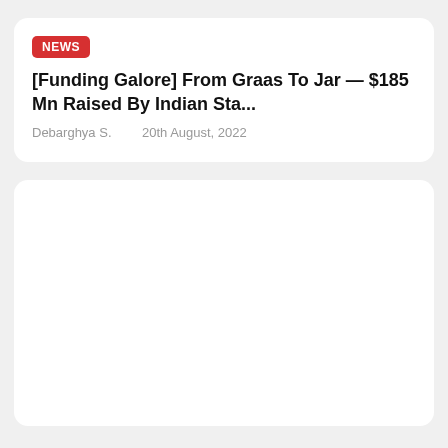NEWS
[Funding Galore] From Graas To Jar — $185 Mn Raised By Indian Sta...
Debarghya S.    20th August, 2022